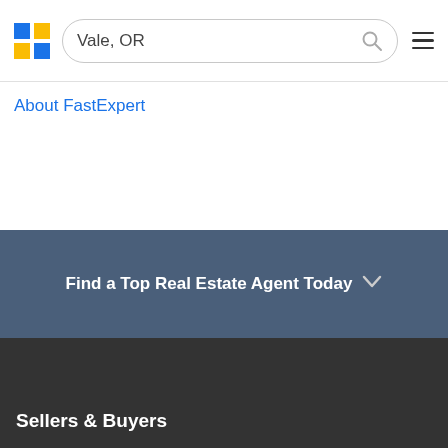[Figure (screenshot): FastExpert logo - blue and yellow grid squares]
Vale, OR
About FastExpert
Find a Top Real Estate Agent Today
Sellers & Buyers